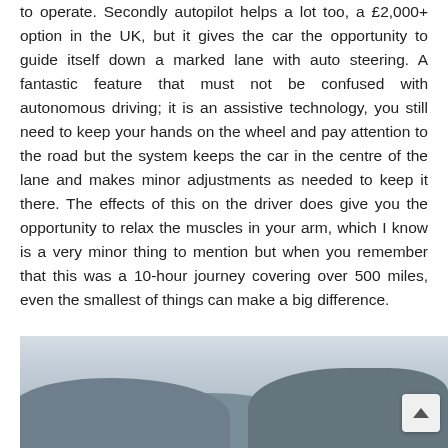to operate. Secondly autopilot helps a lot too, a £2,000+ option in the UK, but it gives the car the opportunity to guide itself down a marked lane with auto steering. A fantastic feature that must not be confused with autonomous driving; it is an assistive technology, you still need to keep your hands on the wheel and pay attention to the road but the system keeps the car in the centre of the lane and makes minor adjustments as needed to keep it there. The effects of this on the driver does give you the opportunity to relax the muscles in your arm, which I know is a very minor thing to mention but when you remember that this was a 10-hour journey covering over 500 miles, even the smallest of things can make a big difference.
[Figure (photo): A misty landscape photo showing rolling hills or mountains under an overcast grey sky, with low cloud cover.]